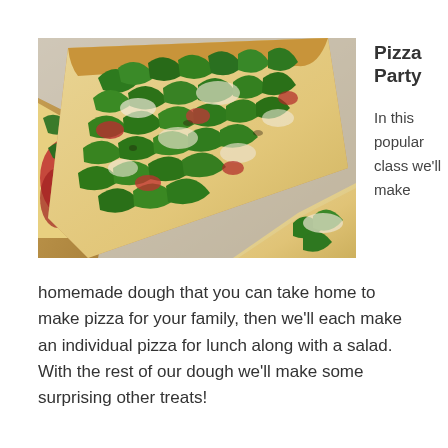[Figure (photo): Close-up photo of flatbread pizza slices topped with green arugula, melted cheese, and red tomato/prosciutto pieces on a light surface]
Pizza Party
In this popular class we'll make
homemade dough that you can take home to make pizza for your family, then we'll each make an individual pizza for lunch along with a salad. With the rest of our dough we'll make some surprising other treats!